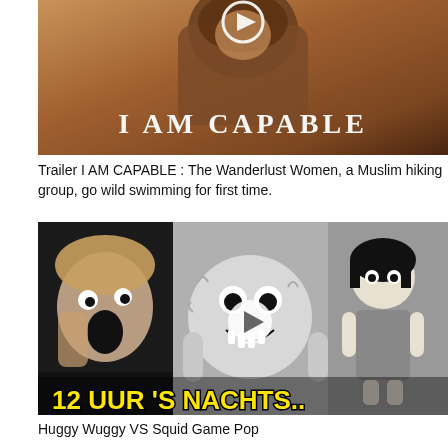[Figure (screenshot): Video thumbnail showing 'I AM CAPABLE' text over a brown/warm-toned background, with a play button icon at top]
Trailer I AM CAPABLE : The Wanderlust Women, a Muslim hiking group, go wild swimming for first time.
[Figure (screenshot): Black and white video thumbnail showing a surprised young man on the left, a fluffy monster character in the center, and a doll figure on the right, with yellow text '12 UUR 'S NACHTS..' at the bottom]
Huggy Wuggy VS Squid Game Pop